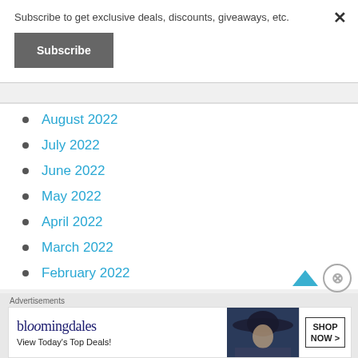Subscribe to get exclusive deals, discounts, giveaways, etc.
×
Subscribe
August 2022
July 2022
June 2022
May 2022
April 2022
March 2022
February 2022
Advertisements
[Figure (screenshot): Bloomingdale's advertisement banner: 'bloomingdales – View Today's Top Deals!' with SHOP NOW button and woman in wide-brim hat]